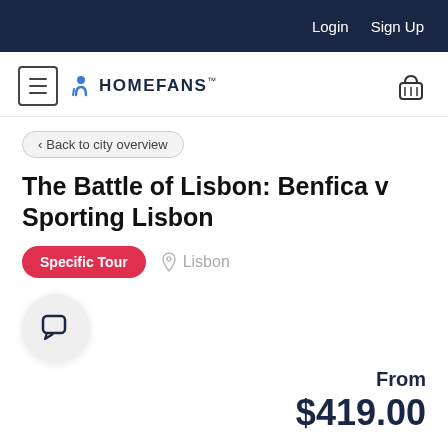Login  Sign Up
[Figure (logo): Homefans logo with hamburger menu icon on left and basket icon on right]
< Back to city overview
The Battle of Lisbon: Benfica v Sporting Lisbon
Specific Tour   Lisbon
[Figure (illustration): Chat bubble icon in a circular button]
From
$419.00